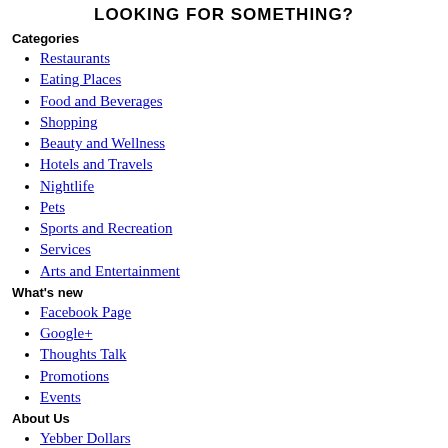LOOKING FOR SOMETHING?
Categories
Restaurants
Eating Places
Food and Beverages
Shopping
Beauty and Wellness
Hotels and Travels
Nightlife
Pets
Sports and Recreation
Services
Arts and Entertainment
What's new
Facebook Page
Google+
Thoughts Talk
Promotions
Events
About Us
Yebber Dollars